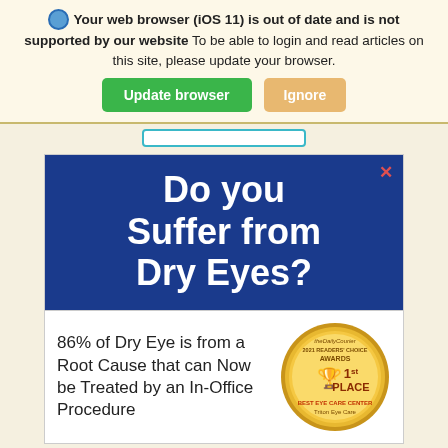Your web browser (iOS 11) is out of date and is not supported by our website To be able to login and read articles on this site, please update your browser.
[Figure (screenshot): Browser update warning banner with globe icon, bold warning text, green 'Update browser' button and tan 'Ignore' button]
[Figure (infographic): Advertisement for dry eye treatment. Blue background with white bold text 'Do you Suffer from Dry Eyes?' and lower section with text '86% of Dry Eye is from a Root Cause that can Now be Treated by an In-Office Procedure' with a gold award badge for The Daily Courier 2021 Readers' Choice Awards 1st Place Best Eye Care Center Triton Eye Care]